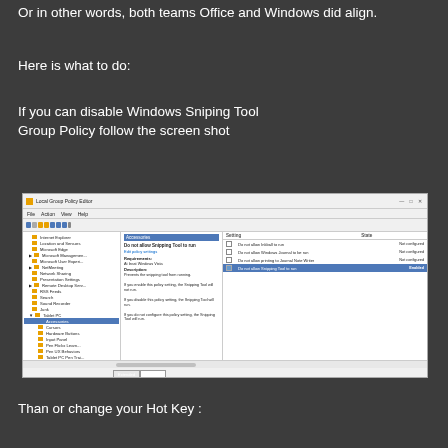Or in other words, both teams Office and Windows did align.
Here is what to do:
If you can disable Windows Sniping Tool
Group Policy follow the screen shot
[Figure (screenshot): Local Group Policy Editor window showing Accessories folder selected under Tablet PC, with 'Do not allow Snipping Tool to run' policy highlighted as Enabled in the right panel.]
Than or change your Hot Key :